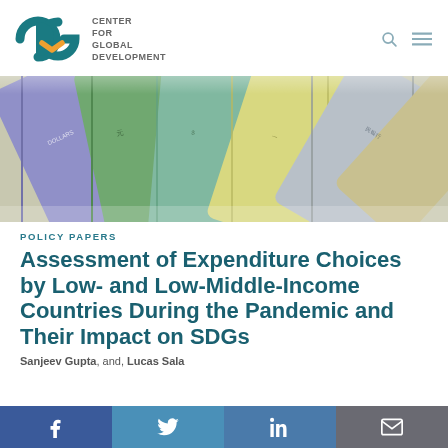CENTER FOR GLOBAL DEVELOPMENT
[Figure (photo): Colorful rolled currency banknotes from multiple countries fanned out]
POLICY PAPERS
Assessment of Expenditure Choices by Low- and Low-Middle-Income Countries During the Pandemic and Their Impact on SDGs
Sanjeev Gupta and Lucas Sala